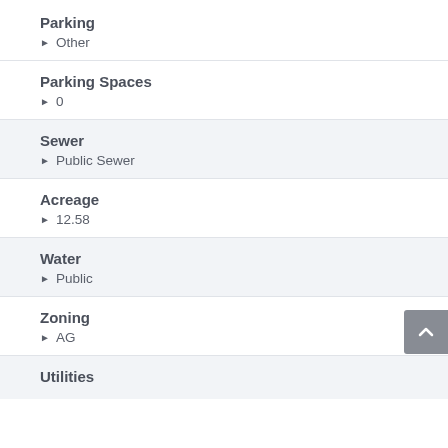Parking
Other
Parking Spaces
0
Sewer
Public Sewer
Acreage
12.58
Water
Public
Zoning
AG
Utilities